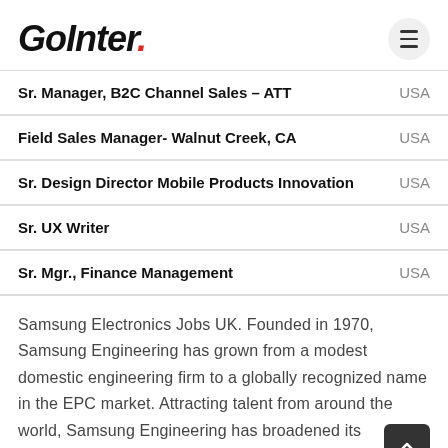GoInter.
Sr. Manager, B2C Channel Sales – ATT | USA
Field Sales Manager- Walnut Creek, CA | USA
Sr. Design Director Mobile Products Innovation | USA
Sr. UX Writer | USA
Sr. Mgr., Finance Management | USA
Samsung Electronics Jobs UK. Founded in 1970, Samsung Engineering has grown from a modest domestic engineering firm to a globally recognized name in the EPC market. Attracting talent from around the world, Samsung Engineering has broadened its business portfolio to a full range of engineering services: